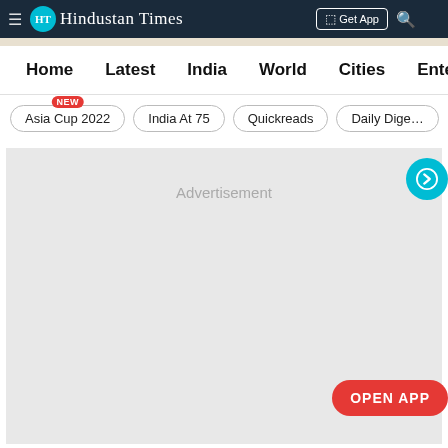Hindustan Times
Home | Latest | India | World | Cities | Entertainment
Asia Cup 2022 (NEW)
India At 75
Quickreads
Daily Dige...
[Figure (other): Advertisement placeholder area (grey box) with a cyan circle arrow button on the right side and an OPEN APP button in the bottom right corner]
Advertisement
OPEN APP